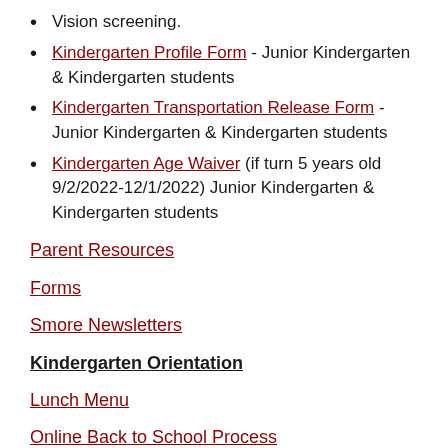Vision screening.
Kindergarten Profile Form - Junior Kindergarten & Kindergarten students
Kindergarten Transportation Release Form - Junior Kindergarten & Kindergarten students
Kindergarten Age Waiver (if turn 5 years old 9/2/2022-12/1/2022) Junior Kindergarten & Kindergarten students
Parent Resources
Forms
Smore Newsletters
Kindergarten Orientation
Lunch Menu
Online Back to School Process